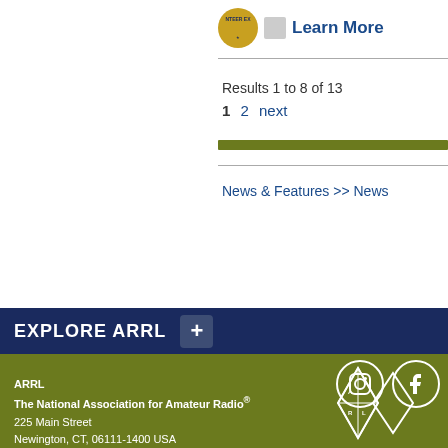[Figure (logo): Partial circular badge/patch logo and checkbox placeholder with 'Learn More' link]
Results 1 to 8 of 13
1  2  next
News & Features >> News
EXPLORE ARRL
ARRL
The National Association for Amateur Radio®
225 Main Street
Newington, CT, 06111-1400 USA
Tel: 1-860-594-0200 | Fax: 1-860-594-0259
Toll-free: 1-888-277-5289
hq@arrl.org